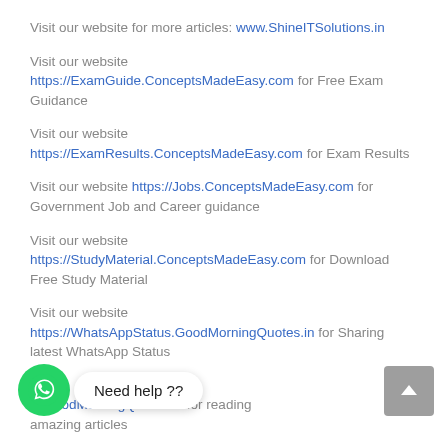Visit our website for more articles: www.ShineITSolutions.in
Visit our website https://ExamGuide.ConceptsMadeEasy.com for Free Exam Guidance
Visit our website https://ExamResults.ConceptsMadeEasy.com for Exam Results
Visit our website https://Jobs.ConceptsMadeEasy.com for Government Job and Career guidance
Visit our website https://StudyMaterial.ConceptsMadeEasy.com for Download Free Study Material
Visit our website https://WhatsAppStatus.GoodMorningQuotes.in for Sharing latest WhatsApp Status
Visit our website https://An...GoodMorningQuotes.in for reading amazing articles
[Figure (infographic): WhatsApp contact button (green circle with WhatsApp logo) and 'Need help ??' speech bubble overlay, plus a grey scroll-to-top arrow button in bottom right corner]